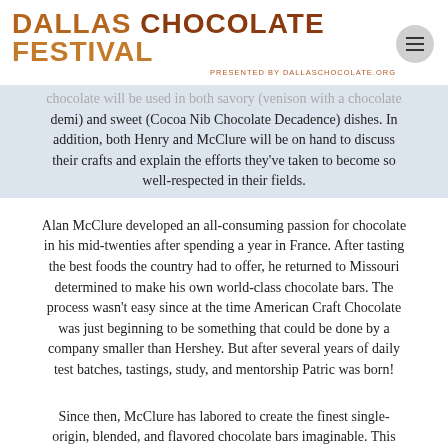DALLAS CHOCOLATE FESTIVAL PRESENTED BY DALLASCHOCOLATE.ORG
chocolate will be used in both savory (venison with a chocolate demi) and sweet (Cocoa Nib Chocolate Decadence) dishes. In addition, both Henry and McClure will be on hand to discuss their crafts and explain the efforts they've taken to become so well-respected in their fields.
Alan McClure developed an all-consuming passion for chocolate in his mid-twenties after spending a year in France. After tasting the best foods the country had to offer, he returned to Missouri determined to make his own world-class chocolate bars. The process wasn't easy since at the time American Craft Chocolate was just beginning to be something that could be done by a company smaller than Hershey. But after several years of daily test batches, tastings, study, and mentorship Patric was born!
Since then, McClure has labored to create the finest single-origin, blended, and flavored chocolate bars imaginable. This commitment to excellence garnered Patric Chocolate Good Food Awards in 2011 and 2012 and recognition as a "Best New